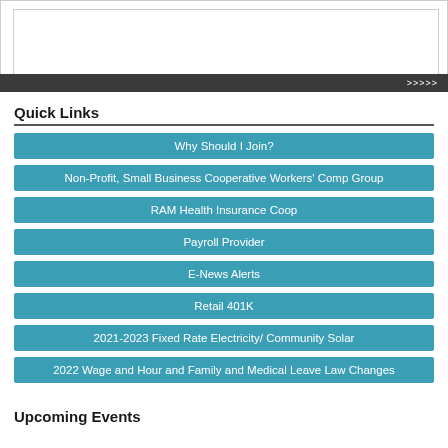[Figure (screenshot): Top image area with nested border box and dark bar with chevrons (>>>)]
Quick Links
Why Should I Join?
Non-Profit, Small Business Cooperative Workers' Comp Group
RAM Health Insurance Coop
Payroll Provider
E-News Alerts
Retail 401K
2021-2023 Fixed Rate Electricity/ Community Solar
2022 Wage and Hour and Family and Medical Leave Law Changes
Upcoming Events